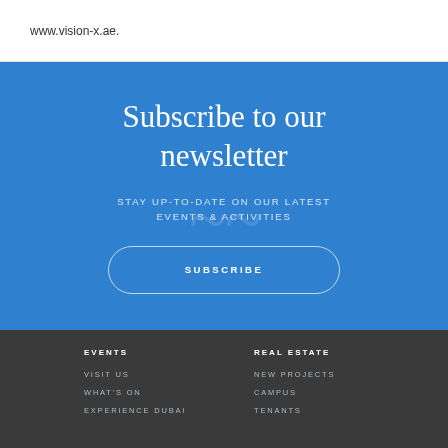www.vision-x.ae.
Subscribe to our newsletter
STAY UP-TO-DATE ON OUR LATEST EVENTS & ACTIVITIES
SUBSCRIBE
EVENTS
VISIT US
WHAT'S ON
EXPERIENCE DUBAI
REAL ESTATE
NEW PROJECTS
CAMPUS
TENANTS